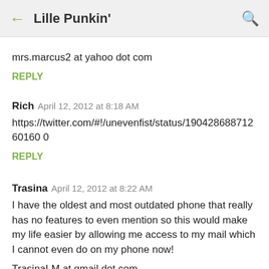Lille Punkin'
mrs.marcus2 at yahoo dot com
REPLY
Rich   April 12, 2012 at 8:18 AM
https://twitter.com/#!/unevenfist/status/19042868871260160 0
REPLY
Trasina   April 12, 2012 at 8:22 AM
I have the oldest and most outdated phone that really has no features to even mention so this would make my life easier by allowing me access to my mail which I cannot even do on my phone now!
TrasinaLM at gmail dot com